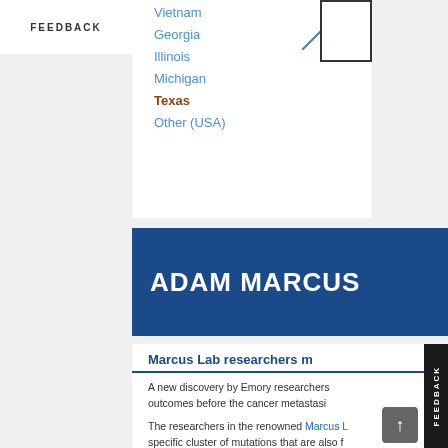FEEDBACK
[Figure (other): Partial list showing geographic locations: Vietnam, Georgia, Illinois, Michigan, Texas, Other (USA) with a diagonal line and a box on the right side]
ADAM MARCUS
Marcus Lab researchers m...
A new discovery by Emory researchers... outcomes before the cancer metastasi...
The researchers in the renowned Marcus L... specific cluster of mutations that are also f... dominant role in tumor progression, and th... experienced poorer survival rates.
The findings mark the first leader cell muta...